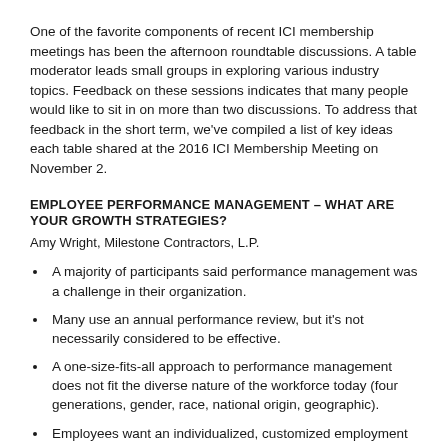One of the favorite components of recent ICI membership meetings has been the afternoon roundtable discussions. A table moderator leads small groups in exploring various industry topics. Feedback on these sessions indicates that many people would like to sit in on more than two discussions. To address that feedback in the short term, we've compiled a list of key ideas each table shared at the 2016 ICI Membership Meeting on November 2.
EMPLOYEE PERFORMANCE MANAGEMENT – WHAT ARE YOUR GROWTH STRATEGIES?
Amy Wright, Milestone Contractors, L.P.
A majority of participants said performance management was a challenge in their organization.
Many use an annual performance review, but it's not necessarily considered to be effective.
A one-size-fits-all approach to performance management does not fit the diverse nature of the workforce today (four generations, gender, race, national origin, geographic).
Employees want an individualized, customized employment experience.
Most employees, especially millennials, want regular performance feedback.